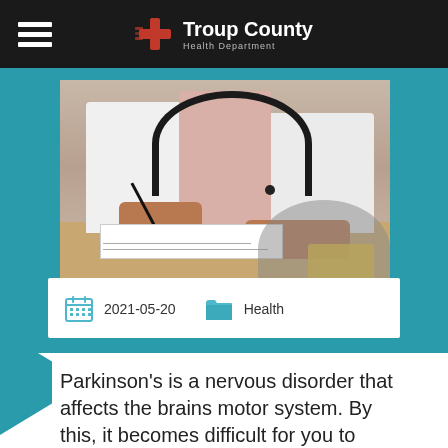Troup County Health Department
[Figure (photo): Doctor in white coat with stethoscope writing on notepad at a desk]
2021-05-20   Health
Parkinson's is a nervous disorder that affects the brains motor system. By this, it becomes difficult for you to coordinate your movements. At its early stages, it is hard to notice